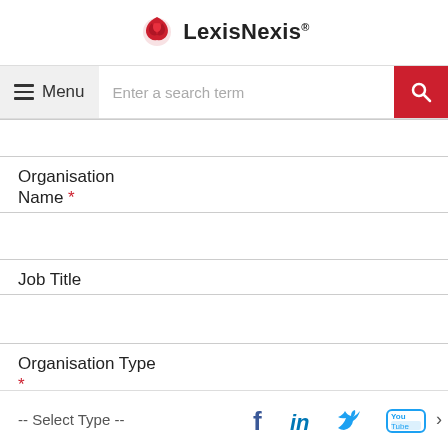[Figure (logo): LexisNexis logo with red bird icon and company name]
[Figure (screenshot): Navigation bar with hamburger Menu button and search input field with red search button]
[Figure (infographic): Empty input field (top of page, partially visible)]
Organisation
Name *
[Figure (infographic): Organisation Name input text field]
Job Title
[Figure (infographic): Job Title input text field]
Organisation Type
*
[Figure (infographic): Organisation Type select dropdown showing '-- Select Type --' with Facebook, LinkedIn, Twitter, YouTube social media icons]